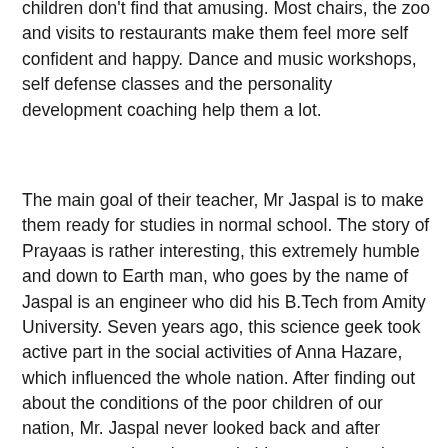children don't find that amusing. Most chairs, the zoo and visits to restaurants make them feel more self confident and happy. Dance and music workshops, self defense classes and the personality development coaching help them a lot.
The main goal of their teacher, Mr Jaspal is to make them ready for studies in normal school. The story of Prayaas is rather interesting, this extremely humble and down to Earth man, who goes by the name of Jaspal is an engineer who did his B.Tech from Amity University. Seven years ago, this science geek took active part in the social activities of Anna Hazare, which influenced the whole nation. After finding out about the conditions of the poor children of our nation, Mr. Jaspal never looked back and after seven years, there he was, in his extremely calm and composed stance, serving milk to the children, occasionally scolding them for being too naughty, an idealistic teacher indeed. Prayaas has no source of income, they rely on donations and the pocket money of